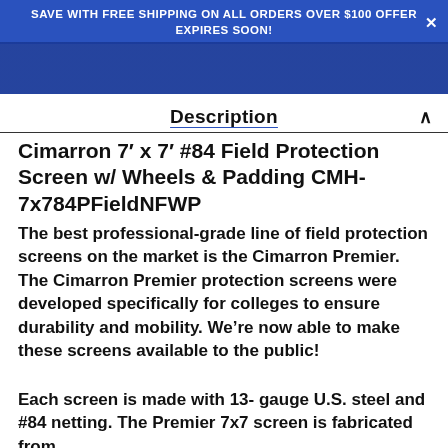SAVE WITH FREE SHIPPING ON ALL ORDERS OVER $100 OFFER EXPIRES SOON!
Description
Cimarron 7' x 7' #84 Field Protection Screen w/ Wheels & Padding CMH-7x784PFieldNFWP
The best professional-grade line of field protection screens on the market is the Cimarron Premier. The Cimarron Premier protection screens were developed specifically for colleges to ensure durability and mobility. We're now able to make these screens available to the public!
Each screen is made with 13- gauge U.S. steel and #84 netting. The Premier 7x7 screen is fabricated from